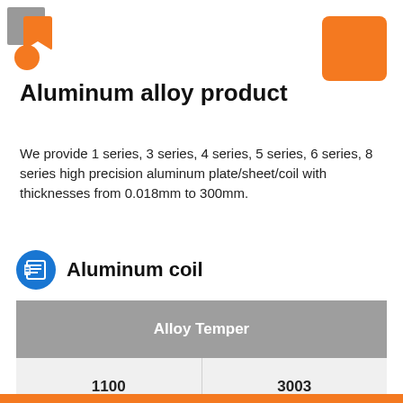[Figure (logo): Company logo top-left with orange and grey icon]
[Figure (other): Orange rounded square decorative element top-right]
Aluminum alloy product
We provide 1 series, 3 series, 4 series, 5 series, 6 series, 8 series high precision aluminum plate/sheet/coil with thicknesses from 0.018mm to 300mm.
Aluminum coil
| Alloy Temper |
| --- |
| 1100 | 3003 |